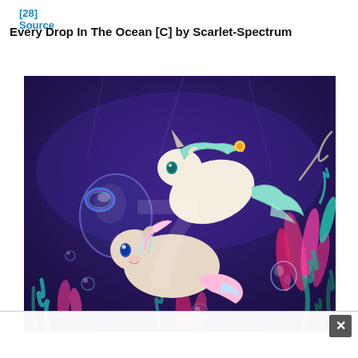[28] Source
Every Drop In The Ocean [C] by Scarlet-Spectrum
[Figure (illustration): Digital fan art illustration of two My Little Pony-style unicorn ponies swimming underwater. The upper pony has a white/cream body with green mane and tail, swimming above. The lower pony has a beige/grey body with pink and light blue mane and tail. The background is dark purple with colorful underwater coral and seaweed in pink, teal, and blue. Glowing bubbles float throughout the scene. A large watermark number '7' is visible in the center. A watermark URL is partially visible at the bottom.]